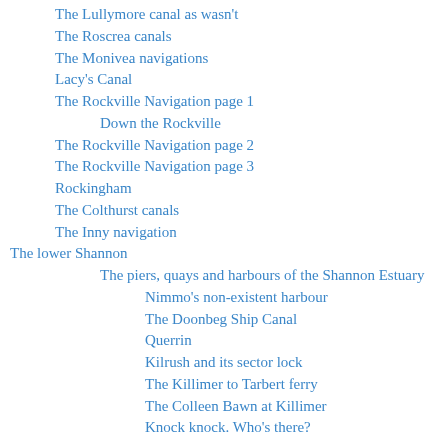The Lullymore canal as wasn't
The Roscrea canals
The Monivea navigations
Lacy's Canal
The Rockville Navigation page 1
Down the Rockville
The Rockville Navigation page 2
The Rockville Navigation page 3
Rockingham
The Colthurst canals
The Inny navigation
The lower Shannon
The piers, quays and harbours of the Shannon Estuary
Nimmo's non-existent harbour
The Doonbeg Ship Canal
Querrin
Kilrush and its sector lock
The Killimer to Tarbert ferry
The Colleen Bawn at Killimer
Knock knock. Who's there?